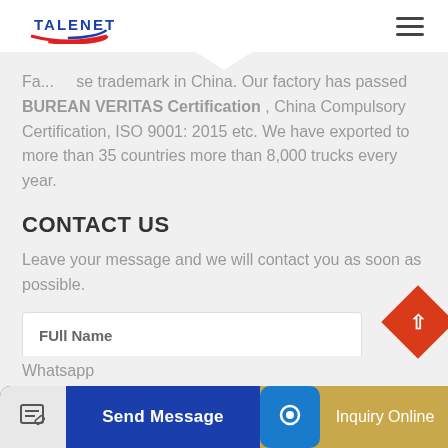TALENET
Fa... se trademark in China. Our factory has passed BUREAN VERITAS Certification , China Compulsory Certification, ISO 9001: 2015 etc. We have exported to more than 35 countries more than 8,000 trucks every year.
CONTACT US
Leave your message and we will contact you as soon as possible.
Full Name
Whatsapp